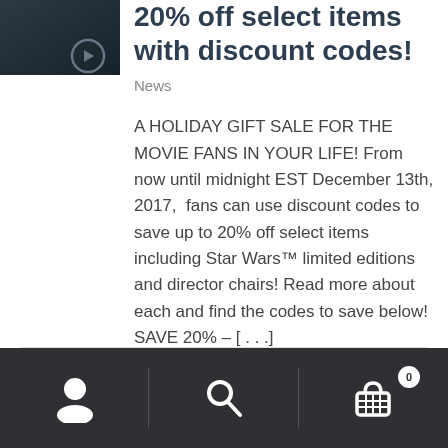[Figure (photo): Dark thumbnail image with a partial logo/icon visible at bottom right]
20% off select items with discount codes!
News
A HOLIDAY GIFT SALE FOR THE MOVIE FANS IN YOUR LIFE! From now until midnight EST December 13th, 2017,  fans can use discount codes to save up to 20% off select items including Star Wars™ limited editions and director chairs! Read more about each and find the codes to save below!  SAVE 20% – [...]
[Figure (screenshot): Bottom navigation bar with user/account icon, search icon, and shopping cart icon with badge showing 0]